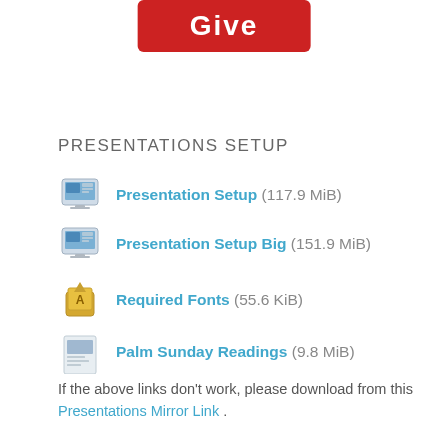[Figure (illustration): Red 'Give' button at top center]
PRESENTATIONS SETUP
Presentation Setup (117.9 MiB)
Presentation Setup Big (151.9 MiB)
Required Fonts (55.6 KiB)
Palm Sunday Readings (9.8 MiB)
If the above links don't work, please download from this Presentations Mirror Link .